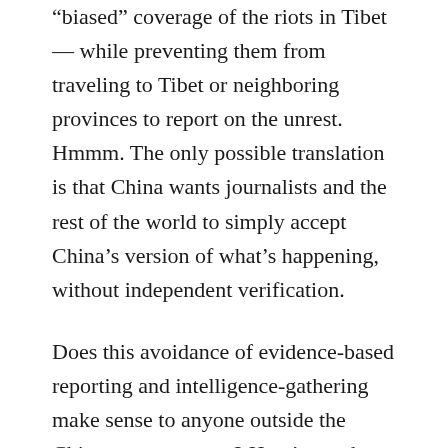“biased” coverage of the riots in Tibet — while preventing them from traveling to Tibet or neighboring provinces to report on the unrest. Hmmm. The only possible translation is that China wants journalists and the rest of the world to simply accept China’s version of what’s happening, without independent verification.
Does this avoidance of evidence-based reporting and intelligence-gathering make sense to anyone outside the Chinese government? Here’s a stab at the rationale behind China’s thinking: Chinese argue that their system is geared toward a harmonious society, and claim that their ethos differs entirely from individualistic capitalism and is not based on the “Western” scientific revolution, which relies on evidence-based decision making. Trust us, the Chinese government is saying, without giving the